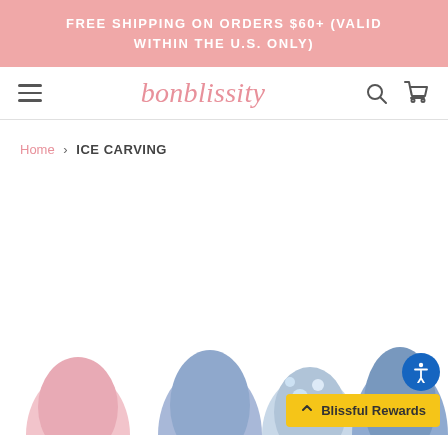FREE SHIPPING ON ORDERS $60+ (VALID WITHIN THE U.S. ONLY)
[Figure (logo): bonblissity script logo in pink, navigation bar with hamburger menu, search icon, and cart icon]
Home › ICE CARVING
[Figure (photo): Product photo showing nail art with ice carving design — pink, blue, and crystal/gem decorated nails visible at bottom of page. Blissful Rewards button overlay and accessibility icon in corner.]